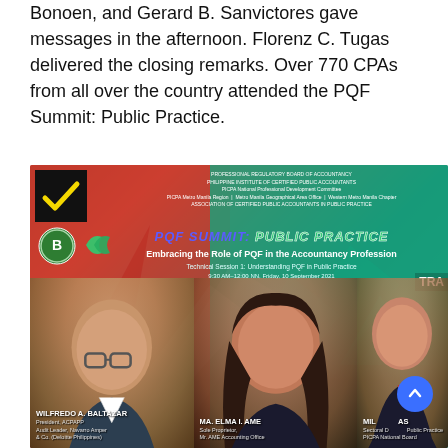Bonoen, and Gerard B. Sanvictores gave messages in the afternoon. Florenz C. Tugas delivered the closing remarks. Over 770 CPAs from all over the country attended the PQF Summit: Public Practice.
[Figure (photo): Event promotional banner for PQF Summit: Public Practice – Embracing the Role of PQF in the Accountancy Profession. Technical Session 1: Understanding PQF in Public Practice, 9:30 AM–12:00 NN, Friday, 10 September 2021. Shows three speakers: Wilfredo A. Baltazar (President, ACPAPP; Audit Leader, Navarro Amper & Co. (Deloitte Philippines)), Ma. Elma I. Ame (Sole Proprietor, Mr. AME Accounting Office), and a third partially visible speaker (Sectoral Director, Public Practice, PICPA National Board). Logos of sponsoring organizations shown at top.]